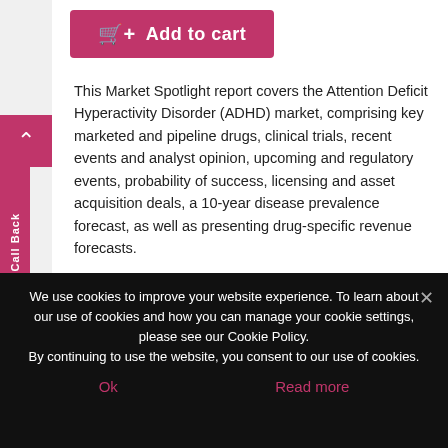[Figure (other): Pink 'Add to cart' button with shopping cart icon]
This Market Spotlight report covers the Attention Deficit Hyperactivity Disorder (ADHD) market, comprising key marketed and pipeline drugs, clinical trials, recent events and analyst opinion, upcoming and regulatory events, probability of success, licensing and asset acquisition deals, a 10-year disease prevalence forecast, as well as presenting drug-specific revenue forecasts.
August 2, 2022
We use cookies to improve your website experience. To learn about our use of cookies and how you can manage your cookie settings, please see our Cookie Policy.
By continuing to use the website, you consent to our use of cookies.
Ok
Read more